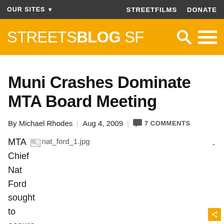OUR SITES ▾ | STREETFILMS | DONATE
STREETSBLOG SF
Muni Crashes Dominate MTA Board Meeting
By Michael Rhodes | Aug 4, 2009 | 7 COMMENTS
MTA Chief Nat Ford sought to assure the
[Figure (photo): Broken image placeholder showing nat_ford_1.jpg]